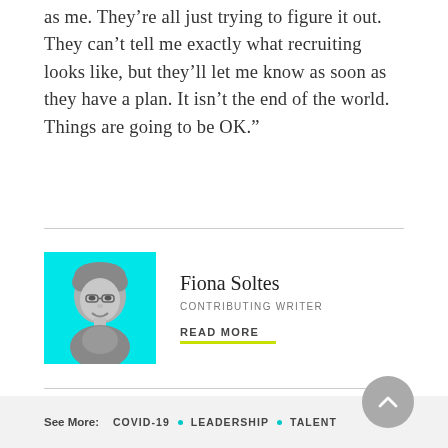as me. They’re all just trying to figure it out. They can’t tell me exactly what recruiting looks like, but they’ll let me know as soon as they have a plan. It isn’t the end of the world. Things are going to be OK.”
[Figure (photo): Headshot photo of Fiona Soltes on a cyan/turquoise background, shown in grayscale]
Fiona Soltes
CONTRIBUTING WRITER
READ MORE
See More: COVID-19 • LEADERSHIP • TALENT